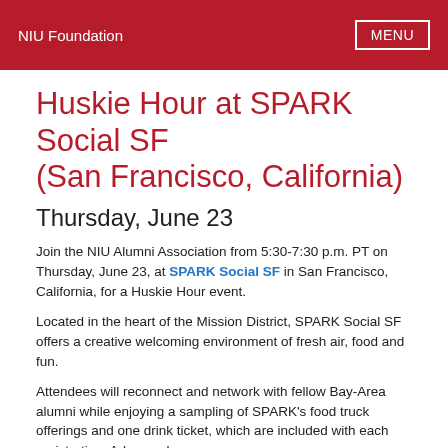NIU Foundation | MENU
Huskie Hour at SPARK Social SF (San Francisco, California)
Thursday, June 23
Join the NIU Alumni Association from 5:30-7:30 p.m. PT on Thursday, June 23, at SPARK Social SF in San Francisco, California, for a Huskie Hour event.
Located in the heart of the Mission District, SPARK Social SF offers a creative welcoming environment of fresh air, food and fun.
Attendees will reconnect and network with fellow Bay-Area alumni while enjoying a sampling of SPARK's food truck offerings and one drink ticket, which are included with each registration. Advanced